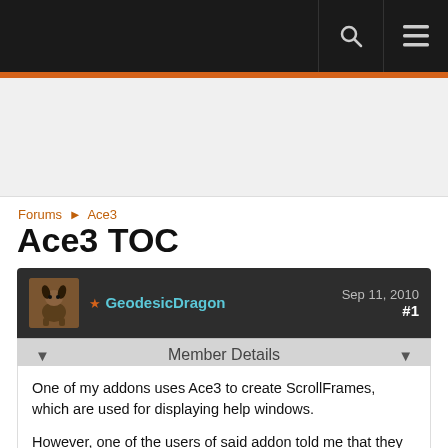Forums navigation header with search and menu icons
Forums ► Ace3
Ace3 TOC
GeodesicDragon  Sep 11, 2010  #1
▼   Member Details   ▼
One of my addons uses Ace3 to create ScrollFrames, which are used for displaying help windows.

However, one of the users of said addon told me that they can't use the commands which create said ScrollFrames. Only when I told him to install Ace3 did he say they worked